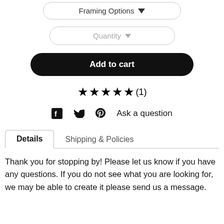[Figure (screenshot): Framing Options dropdown button]
[Figure (screenshot): Quantity dropdown button]
[Figure (screenshot): Add to cart button]
★★★★★(1)
f  ✓  ℗  Ask a question
Details   Shipping & Policies
Thank you for stopping by! Please let us know if you have any questions. If you do not see what you are looking for, we may be able to create it please send us a message.